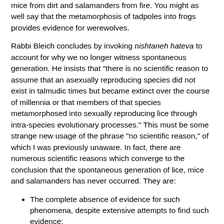mice from dirt and salamanders from fire. You might as well say that the metamorphosis of tadpoles into frogs provides evidence for werewolves.
Rabbi Bleich concludes by invoking nishtaneh hateva to account for why we no longer witness spontaneous generation. He insists that "there is no scientific reason to assume that an asexually reproducing species did not exist in talmudic times but became extinct over the course of millennia or that members of that species metamorphosed into sexually reproducing lice through intra-species evolutionary processes." This must be some strange new usage of the phrase "no scientific reason," of which I was previously unaware. In fact, there are numerous scientific reasons which converge to the conclusion that the spontaneous generation of lice, mice and salamanders has never occurred. They are:
The complete absence of evidence for such phenomena, despite extensive attempts to find such evidence;
The fact that such phenomena would run contrary